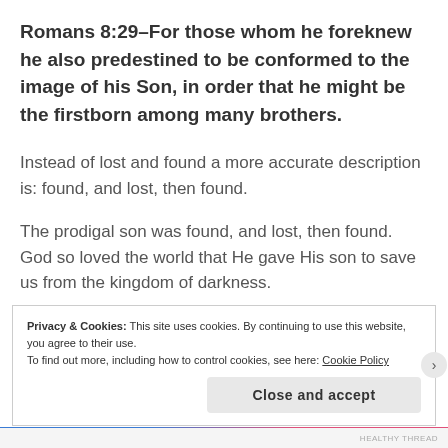Romans 8:29–For those whom he foreknew he also predestined to be conformed to the image of his Son, in order that he might be the firstborn among many brothers.
Instead of lost and found a more accurate description is: found, and lost, then found.
The prodigal son was found, and lost, then found.  God so loved the world that He gave His son to save us from the kingdom of darkness.
Privacy & Cookies: This site uses cookies. By continuing to use this website, you agree to their use.
To find out more, including how to control cookies, see here: Cookie Policy
Close and accept